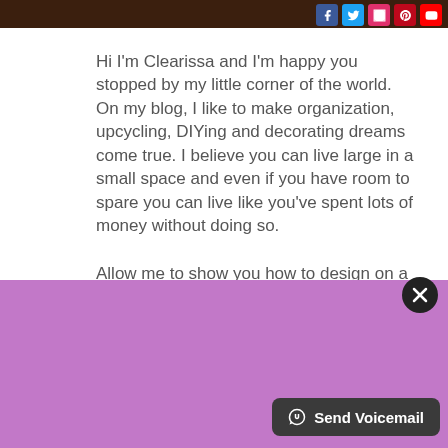[Figure (screenshot): Dark brown header bar with social media icons (Facebook, Twitter, Instagram, Pinterest, YouTube) in the top right corner]
Hi I'm Clearissa and I'm happy you stopped by my little corner of the world. On my blog, I like to make organization, upcycling, DIYing and decorating dreams come true. I believe you can live large in a small space and even if you have room to spare you can live like you've spent lots of money without doing so.
Allow me to show you how to design on a dime and how to organize your home without spending a fortune. All you need is a little creativity and the desire. Join me In My Element.
[Figure (screenshot): Purple overlay at the bottom of the page with a close (X) button and a Send Voicemail button]